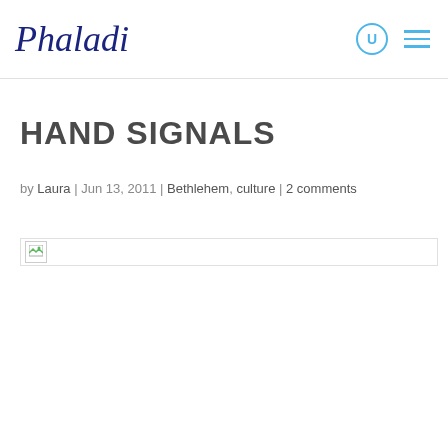Phaladi
HAND SIGNALS
by Laura | Jun 13, 2011 | Bethlehem, culture | 2 comments
[Figure (photo): Broken image placeholder at top of blog post content]